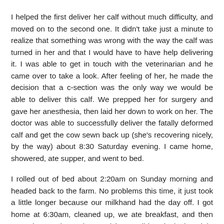I helped the first deliver her calf without much difficulty, and moved on to the second one. It didn't take just a minute to realize that something was wrong with the way the calf was turned in her and that I would have to have help delivering it. I was able to get in touch with the veterinarian and he came over to take a look. After feeling of her, he made the decision that a c-section was the only way we would be able to deliver this calf. We prepped her for surgery and gave her anesthesia, then laid her down to work on her. The doctor was able to successfully deliver the fatally deformed calf and get the cow sewn back up (she's recovering nicely, by the way) about 8:30 Saturday evening. I came home, showered, ate supper, and went to bed.
I rolled out of bed about 2:20am on Sunday morning and headed back to the farm. No problems this time, it just took a little longer because our milkhand had the day off. I got home at 6:30am, cleaned up, we ate breakfast, and then started preparing a lesson (since I didn't do it the night before). We headed off to our church about 9:45, with me once again having replaced a nap with coffee.